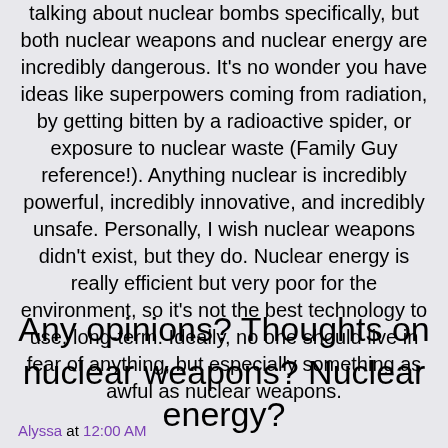talking about nuclear bombs specifically, but both nuclear weapons and nuclear energy are incredibly dangerous. It's no wonder you have ideas like superpowers coming from radiation, by getting bitten by a radioactive spider, or exposure to nuclear waste (Family Guy reference!). Anything nuclear is incredibly powerful, incredibly innovative, and incredibly unsafe. Personally, I wish nuclear weapons didn't exist, but they do. Nuclear energy is really efficient but very poor for the environment, so it's not the best technology to use, long-term. Ideally, no one should live in fear of anything, but especially something as awful as nuclear weapons.
Any opinions? Thoughts on nuclear weapons? Nuclear energy?
Alyssa at 12:00 AM